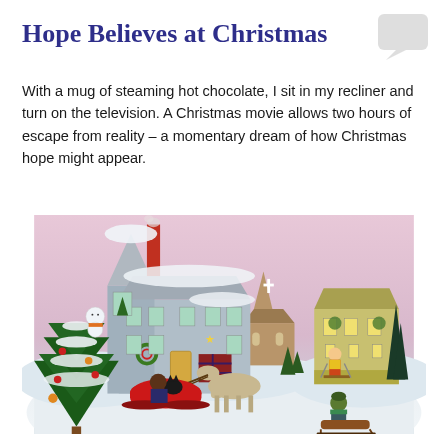Hope Believes at Christmas
[Figure (illustration): Chat/speech bubble icon in light gray, top right corner]
With a mug of steaming hot chocolate, I sit in my recliner and turn on the television. A Christmas movie allows two hours of escape from reality – a momentary dream of how Christmas hope might appear.
[Figure (illustration): Illustrated Christmas winter scene showing snow-covered houses including a large Victorian house, a church with steeple, and a yellow Victorian house. Features a horse-drawn sleigh with a black cat, a decorated Christmas tree, snowman, skier, and a child sledding in the foreground. Soft pink-purple sky background.]